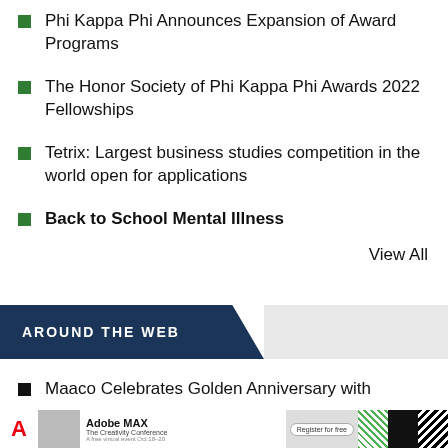Phi Kappa Phi Announces Expansion of Award Programs
The Honor Society of Phi Kappa Phi Awards 2022 Fellowships
Tetrix: Largest business studies competition in the world open for applications
Back to School Mental Illness
View All
AROUND THE WEB
Maaco Celebrates Golden Anniversary with
[Figure (screenshot): Adobe MAX advertisement banner: The Creativity Conference, Register for free, A free virtual event Oct 18-20, with colorful pattern strips]